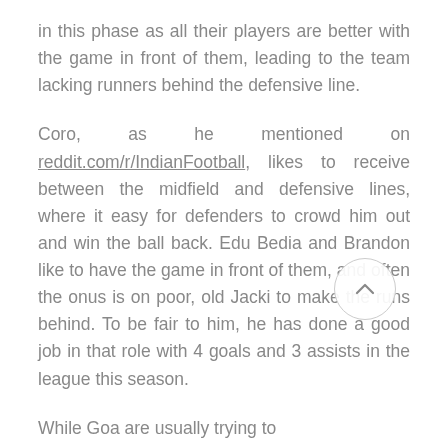in this phase as all their players are better with the game in front of them, leading to the team lacking runners behind the defensive line.
Coro, as he mentioned on reddit.com/r/IndianFootball, likes to receive between the midfield and defensive lines, where it easy for defenders to crowd him out and win the ball back. Edu Bedia and Brandon like to have the game in front of them, and often the onus is on poor, old Jacki to make the runs behind. To be fair to him, he has done a good job in that role with 4 goals and 3 assists in the league this season.
While Goa are usually trying to